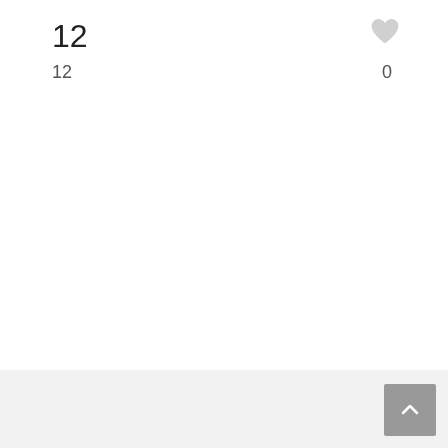12
12
0
[Figure (photo): Three silver rings displayed in a spiral/stacked arrangement. The left ring has diamond/crystal embellishments along its band, while the two rings on the right are plain polished silver bands. All three are shown overlapping in a decorative display with subtle reflections below.]
[LUCIE] Aria 웨딩링